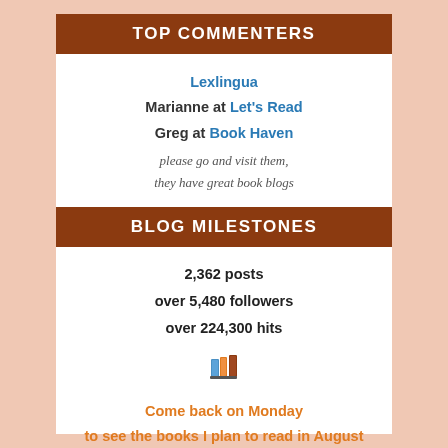TOP COMMENTERS
Lexlingua
Marianne at Let's Read
Greg at Book Haven
please go and visit them, they have great book blogs
BLOG MILESTONES
2,362 posts
over 5,480 followers
over 224,300 hits
[Figure (illustration): Stack of books emoji icon]
Come back on Monday to see the books I plan to read in August
[Figure (illustration): Three stack of books emoji icons]